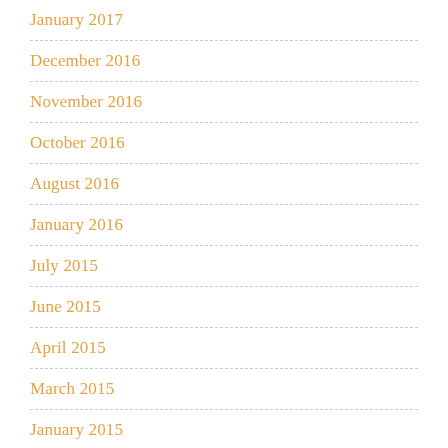January 2017
December 2016
November 2016
October 2016
August 2016
January 2016
July 2015
June 2015
April 2015
March 2015
January 2015